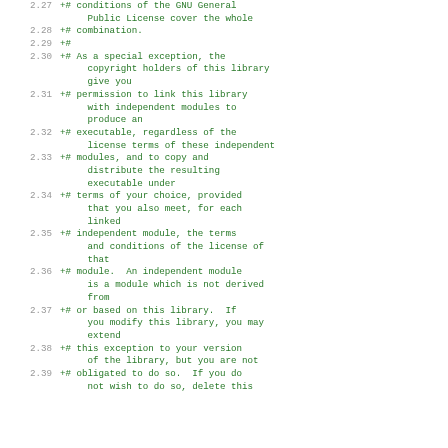2.27 +# conditions of the GNU General Public License cover the whole
2.28 +# combination.
2.29 +#
2.30 +# As a special exception, the copyright holders of this library give you
2.31 +# permission to link this library with independent modules to produce an
2.32 +# executable, regardless of the license terms of these independent
2.33 +# modules, and to copy and distribute the resulting executable under
2.34 +# terms of your choice, provided that you also meet, for each linked
2.35 +# independent module, the terms and conditions of the license of that
2.36 +# module.  An independent module is a module which is not derived from
2.37 +# or based on this library.  If you modify this library, you may extend
2.38 +# this exception to your version of the library, but you are not
2.39 +# obligated to do so.  If you do not wish to do so, delete this